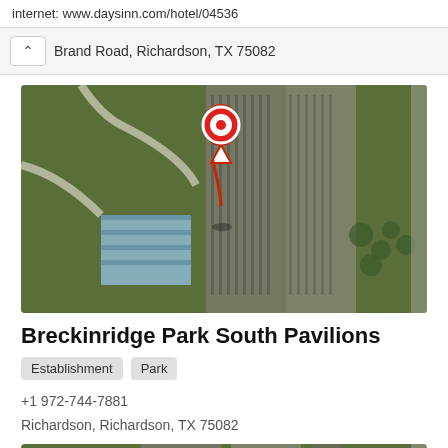internet: www.daysinn.com/hotel/04536
Brand Road, Richardson, TX 75082
[Figure (map): Aerial satellite map view of Breckinridge Park South Pavilions with a red location pin marker]
Breckinridge Park South Pavilions
Establishment  Park
+1 972-744-7881
Richardson, Richardson, TX 75082
[Figure (map): Aerial satellite map view of the surrounding area]